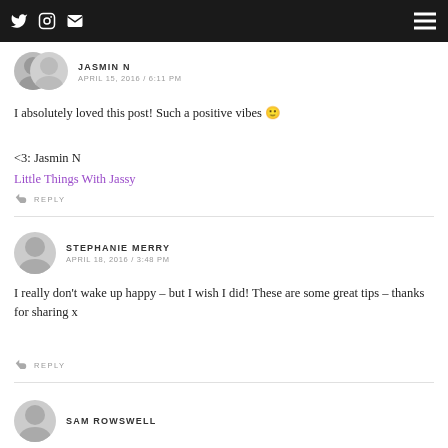Navigation bar with Twitter, Instagram, email icons and hamburger menu
JASMIN N
APRIL 15, 2016 / 6:11 PM
I absolutely loved this post! Such a positive vibes 🙂
<3: Jasmin N
Little Things With Jassy
REPLY
STEPHANIE MERRY
APRIL 18, 2016 / 3:48 PM
I really don't wake up happy – but I wish I did! These are some great tips – thanks for sharing x
REPLY
SAM ROWSWELL